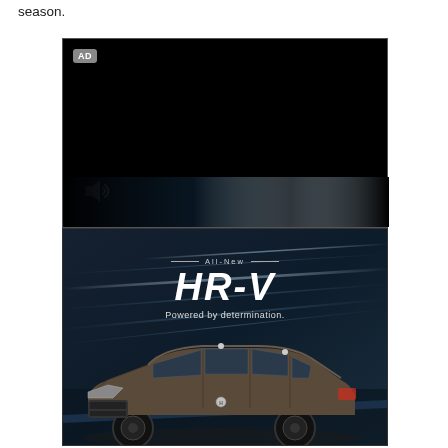season.
[Figure (screenshot): A video player panel showing a dark/black screen with an AD badge in the top-left corner and a speaker/volume icon in the bottom-left. Below it is a Honda HR-V advertisement showing the text 'All-New HR-V Powered by determination.' over a dark background with a Honda HR-V SUV in dark gray/brown color positioned at the bottom of the ad panel.]